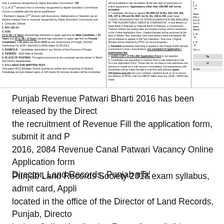[Figure (screenshot): Scanned government document snippet showing recruitment notice with columns listing qualifications, pay, age, domicile, gender, place of posting, syllabus, and instructions for online application including fee deposit and disability exemption details.]
Punjab Revenue Patwari Bharti 2016 has been released by the Director the recruitment of Revenue Fill the application form, submit it and P 2016, 2084 Revenue Canal Patwari Vacancy Online Application form Director, Land Records, Punjab вЂ¦
Punjab Land Records Society 2018 exam syllabus, admit card, Appli located in the office of the Director of Land Records, Punjab, Directo invites Online Application Forms from eligible candidates for recruit